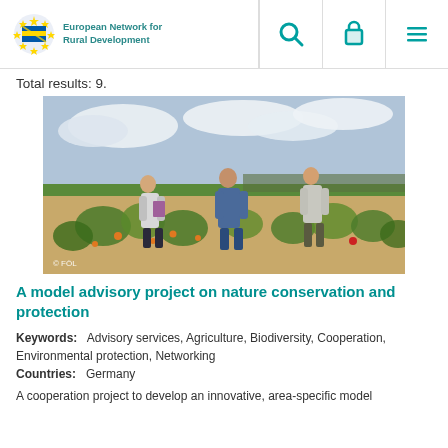European Network for Rural Development
Total results: 9.
[Figure (photo): Three people standing in a wildflower field with agricultural land in the background. A woman on the left holds a notebook. Two men stand in the middle and right. Credit: © FÖL]
A model advisory project on nature conservation and protection
Keywords: Advisory services, Agriculture, Biodiversity, Cooperation, Environmental protection, Networking
Countries: Germany
A cooperation project to develop an innovative, area-specific model